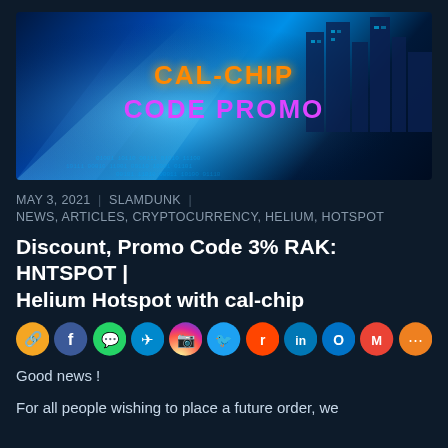[Figure (illustration): Banner image with blue city/tech background and text CAL-CHIP CODE PROMO]
MAY 3, 2021  |  SLAMDUNK  |
NEWS, ARTICLES, CRYPTOCURRENCY, HELIUM, HOTSPOT
Discount, Promo Code 3% RAK: HNTSPOT | Helium Hotspot with cal-chip
[Figure (infographic): Row of social media sharing icon circles: link, facebook, whatsapp, telegram, instagram, twitter, reddit, linkedin, outlook, gmail, share]
Good news !
For all people wishing to place a future order, we